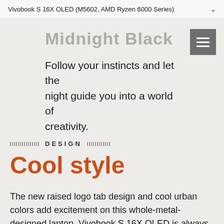Vivobook S 16X OLED (M5602, AMD Ryzen 6000 Series)
Midnight Black
Follow your instincts and let the night guide you into a world of creativity.
DESIGN
Cool style
The new raised logo tab design and cool urban colors add excitement on this whole-metal-designed laptop. Vivobook S 16X OLED is always ready for you to explore this exciting and stunning world. The